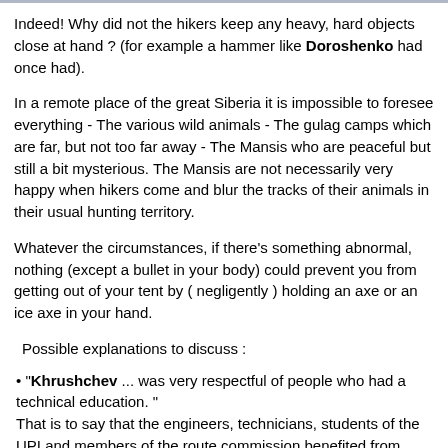Indeed! Why did not the hikers keep any heavy, hard objects close at hand ? (for example a hammer like Doroshenko had once had).
In a remote place of the great Siberia it is impossible to foresee everything - The various wild animals - The gulag camps which are far, but not too far away - The Mansis who are peaceful but still a bit mysterious. The Mansis are not necessarily very happy when hikers come and blur the tracks of their animals in their usual hunting territory.
Whatever the circumstances, if there's something abnormal, nothing (except a bullet in your body) could prevent you from getting out of your tent by ( negligently ) holding an axe or an ice axe in your hand.
Possible explanations to discuss :
"Khrushchev ... was very respectful of people who had a technical education. " That is to say that the engineers, technicians, students of the UPI and members of the route commission benefited from reinforced police protection in their laboratories and their buildings. As a result, hikers everywhere retained a slightly excessive sense of security.
Or it was the use of an Improvised Suffocating Device that